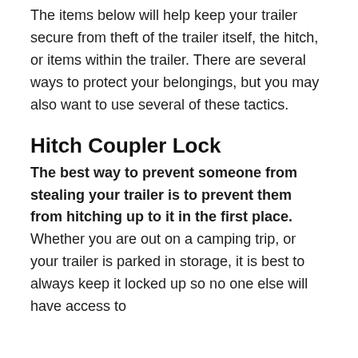The items below will help keep your trailer secure from theft of the trailer itself, the hitch, or items within the trailer. There are several ways to protect your belongings, but you may also want to use several of these tactics.
Hitch Coupler Lock
The best way to prevent someone from stealing your trailer is to prevent them from hitching up to it in the first place. Whether you are out on a camping trip, or your trailer is parked in storage, it is best to always keep it locked up so no one else will have access to